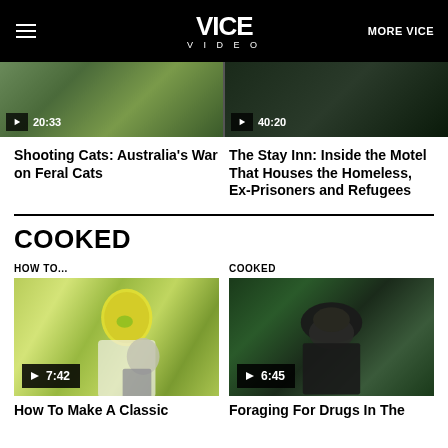VICE VIDEO
[Figure (screenshot): Video thumbnail showing duration 20:33]
[Figure (screenshot): Video thumbnail showing duration 40:20]
Shooting Cats: Australia's War on Feral Cats
The Stay Inn: Inside the Motel That Houses the Homeless, Ex-Prisoners and Refugees
COOKED
HOW TO...
COOKED
[Figure (screenshot): Video thumbnail with play button showing 7:42 duration]
[Figure (screenshot): Video thumbnail with play button showing 6:45 duration]
How To Make A Classic
Foraging For Drugs In The